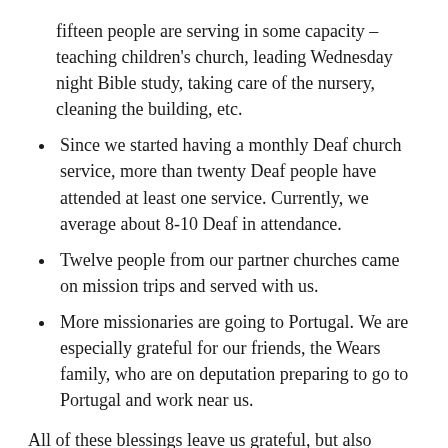fifteen people are serving in some capacity – teaching children's church, leading Wednesday night Bible study, taking care of the nursery, cleaning the building, etc.
Since we started having a monthly Deaf church service, more than twenty Deaf people have attended at least one service. Currently, we average about 8-10 Deaf in attendance.
Twelve people from our partner churches came on mission trips and served with us.
More missionaries are going to Portugal. We are especially grateful for our friends, the Wears family, who are on deputation preparing to go to Portugal and work near us.
All of these blessings leave us grateful, but also hungry for more. We long to see more people saved, more churches established, and more people passionate about proclaiming Jesus in Portugal. We also know that whatever good may happen in Portugal will be a result of prayer. During our furlough, we have been greatly encouraged by how many of